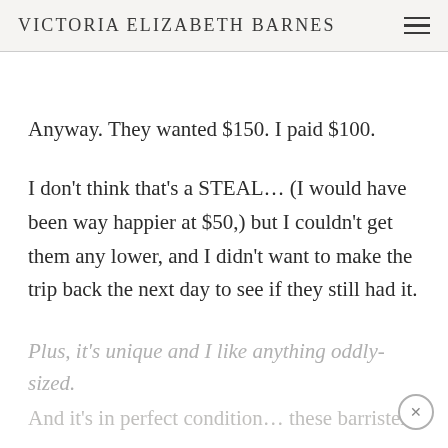Victoria Elizabeth Barnes
Anyway. They wanted $150. I paid $100.
I don't think that's a STEAL... (I would have been way happier at $50,) but I couldn't get them any lower, and I didn't want to make the trip back the next day to see if they still had it.
Plus, it's unique and I like anything oddly-sized.
And it's in perfect condition... these barristers